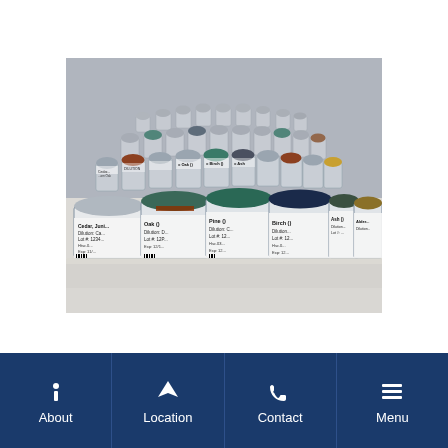[Figure (photo): Rows of medical vials/allergen extract bottles arranged on a white surface. The vials have silver caps and colorful labels including Cedar, Oak, Pine, Birch, Ash, Alder and other allergen extracts with dilution and lot number information.]
About | Location | Contact | Menu